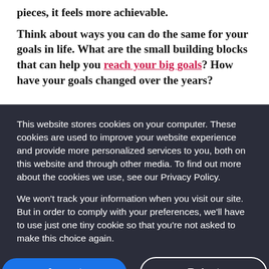pieces, it feels more achievable.
Think about ways you can do the same for your goals in life. What are the small building blocks that can help you reach your big goals? How have your goals changed over the years?
This website stores cookies on your computer. These cookies are used to improve your website experience and provide more personalized services to you, both on this website and through other media. To find out more about the cookies we use, see our Privacy Policy.
We won't track your information when you visit our site. But in order to comply with your preferences, we'll have to use just one tiny cookie so that you're not asked to make this choice again.
Accept
Reject